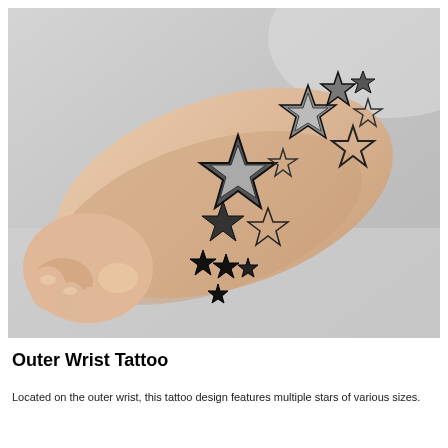[Figure (photo): A photograph of a person's forearm and wrist showing multiple star tattoos of varying sizes arranged in a scattered pattern. The stars range from large outlined stars with shading to small solid black stars. The background is light gray/white.]
Outer Wrist Tattoo
Located on the outer wrist, this tattoo design features multiple stars of various sizes.